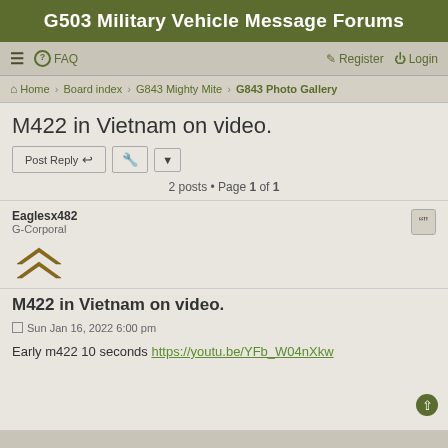G503 Military Vehicle Message Forums
☰  FAQ    Register  Login
Home · Board index · G843 Mighty Mite · G843 Photo Gallery
M422 in Vietnam on video.
2 posts • Page 1 of 1
Eaglesx482
G-Corporal
M422 in Vietnam on video.
Sun Jan 16, 2022 6:00 pm
Early m422 10 seconds https://youtu.be/YFb_W04nXkw